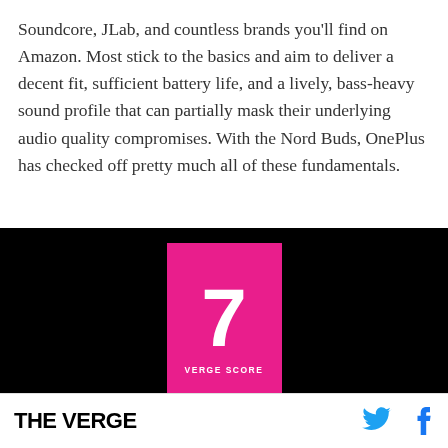Soundcore, JLab, and countless brands you'll find on Amazon. Most stick to the basics and aim to deliver a decent fit, sufficient battery life, and a lively, bass-heavy sound profile that can partially mask their underlying audio quality compromises. With the Nord Buds, OnePlus has checked off pretty much all of these fundamentals.
[Figure (other): Black background score card showing '7' in white on a pink/magenta rectangle with 'VERGE SCORE' text below]
THE VERGE